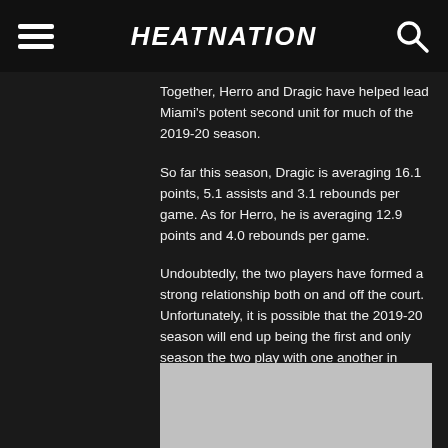HEATNATION
Together, Herro and Dragic have helped lead Miami’s potent second unit for much of the 2019-20 season.
So far this season, Dragic is averaging 16.1 points, 5.1 assists and 3.1 rebounds per game. As for Herro, he is averaging 12.9 points and 4.0 rebounds per game.
Undoubtedly, the two players have formed a strong relationship both on and off the court. Unfortunately, it is possible that the 2019-20 season will end up being the first and only season the two play with one another in Miami.
Dragic is set to become a free agent this summer, and the talented guard reportedly already has some interested suitors around